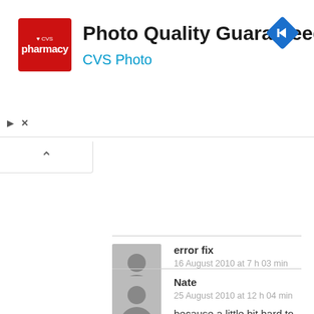[Figure (screenshot): CVS Pharmacy advertisement banner with red CVS logo, text 'Photo Quality Guaranteed' in bold black and 'CVS Photo' in blue, and a blue diamond navigation icon on the right.]
error fix
16 August 2010 at 7 h 03 min
because a little bit hard to configure the CI server to manage all development branches.
REPLY
Nate
25 August 2010 at 12 h 04 min